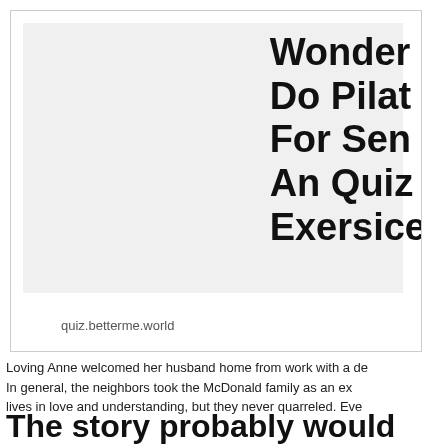[Figure (screenshot): Screenshot of a webpage from quiz.betterme.world with a blurred/faded image on the left and bold title text on the right reading 'Wonder... Do Pilat... For Sen... An Quiz... Exersice...']
Loving Anne welcomed her husband home from work with a de... In general, the neighbors took the McDonald family as an ex... lives in love and understanding, but they never quarreled. Eve...
The story probably would...